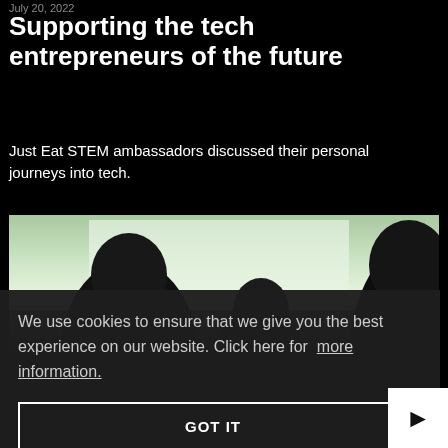July 20, 2022
Supporting the tech entrepreneurs of the future
Just Eat STEM ambassadors discussed their personal journeys into tech.
[Figure (photo): Photo showing people seated, viewed from behind, against a bright window background]
We use cookies to ensure that we give you the best experience on our website. Click here for more information.
GOT IT